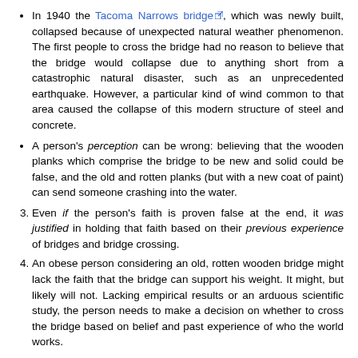In 1940 the Tacoma Narrows bridge, which was newly built, collapsed because of unexpected natural weather phenomenon. The first people to cross the bridge had no reason to believe that the bridge would collapse due to anything short from a catastrophic natural disaster, such as an unprecedented earthquake. However, a particular kind of wind common to that area caused the collapse of this modern structure of steel and concrete.
A person's perception can be wrong: believing that the wooden planks which comprise the bridge to be new and solid could be false, and the old and rotten planks (but with a new coat of paint) can send someone crashing into the water.
Even if the person's faith is proven false at the end, it was justified in holding that faith based on their previous experience of bridges and bridge crossing.
An obese person considering an old, rotten wooden bridge might lack the faith that the bridge can support his weight. It might, but likely will not. Lacking empirical results or an arduous scientific study, the person needs to make a decision on whether to cross the bridge based on belief and past experience of who the world works.